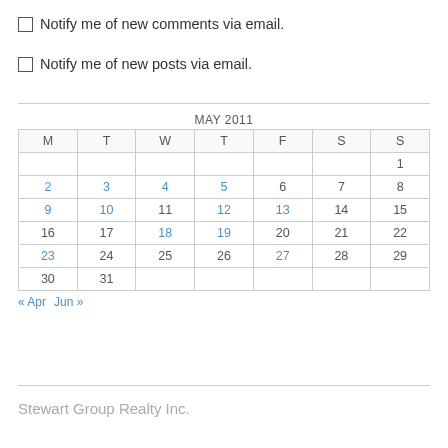Notify me of new comments via email.
Notify me of new posts via email.
| M | T | W | T | F | S | S |
| --- | --- | --- | --- | --- | --- | --- |
|  |  |  |  |  |  | 1 |
| 2 | 3 | 4 | 5 | 6 | 7 | 8 |
| 9 | 10 | 11 | 12 | 13 | 14 | 15 |
| 16 | 17 | 18 | 19 | 20 | 21 | 22 |
| 23 | 24 | 25 | 26 | 27 | 28 | 29 |
| 30 | 31 |  |  |  |  |  |
Stewart Group Realty Inc.